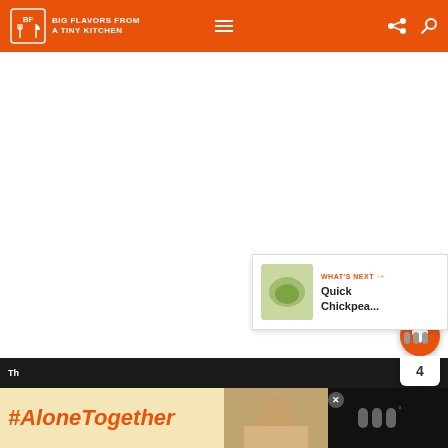Big Flavors From A Tiny Kitchen - navigation header with logo, hamburger menu, share icon, and search icon
[Figure (screenshot): Main white content area of the Big Flavors From A Tiny Kitchen website, showing a blank/loading recipe page]
[Figure (infographic): Floating action buttons on right side: orange heart/favorite button with count of 4, and white share button]
[Figure (infographic): What's Next panel showing a food image thumbnail with label 'WHAT'S NEXT' and title 'Quick Chickpea...']
4
WHAT'S NEXT →
Quick Chickpea...
#AloneTogether
Th... olid - bottom bar with ad banner showing #AloneTogether